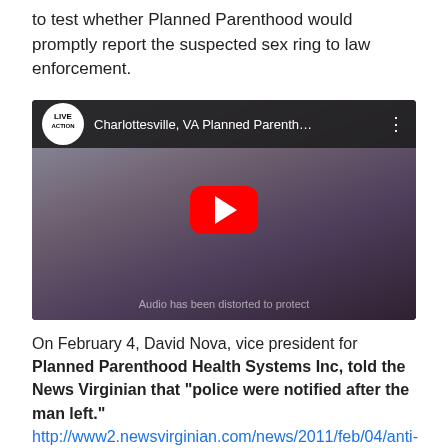to test whether Planned Parenthood would promptly report the suspected sex ring to law enforcement.
[Figure (screenshot): YouTube video thumbnail showing a blurred indoor scene with a Live Action logo and title 'Charlottesville, VA Planned Parenth...' with a red play button in the center. Watermark text reads 'Audio has been distorted to protect']
On February 4, David Nova, vice president for Planned Parenthood Health Systems Inc, told the News Virginian that “police were notified after the man left.” http://www2.newsvirginian.com/news/2011/feb/04/anti-